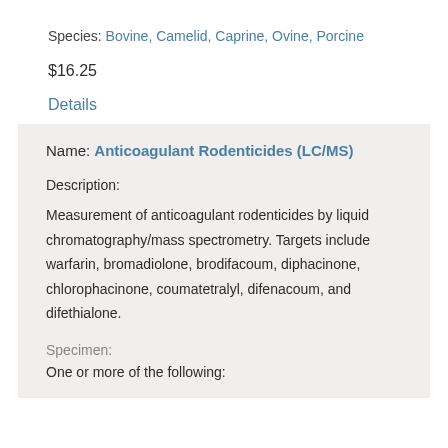Species: Bovine, Camelid, Caprine, Ovine, Porcine
$16.25
Details
Name: Anticoagulant Rodenticides (LC/MS)
Description:
Measurement of anticoagulant rodenticides by liquid chromatography/mass spectrometry. Targets include warfarin, bromadiolone, brodifacoum, diphacinone, chlorophacinone, coumatetralyl, difenacoum, and difethialone.
Specimen:
One or more of the following: